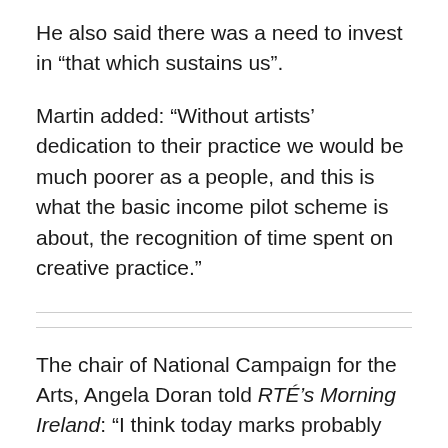He also said there was a need to invest in “that which sustains us”.
Martin added: “Without artists’ dedication to their practice we would be much poorer as a people, and this is what the basic income pilot scheme is about, the recognition of time spent on creative practice.”
The chair of National Campaign for the Arts, Angela Doran told RTÉ’s Morning Ireland: “I think today marks probably the most momentous indication of how Ireland values its artists, probably since, you know, the establishment of the Arts Council who